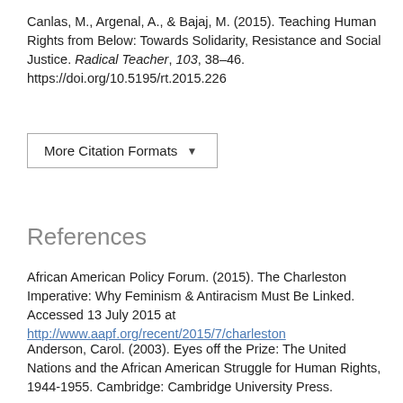Canlas, M., Argenal, A., & Bajaj, M. (2015). Teaching Human Rights from Below: Towards Solidarity, Resistance and Social Justice. Radical Teacher, 103, 38–46. https://doi.org/10.5195/rt.2015.226
More Citation Formats ▼
References
African American Policy Forum. (2015). The Charleston Imperative: Why Feminism & Antiracism Must Be Linked. Accessed 13 July 2015 at http://www.aapf.org/recent/2015/7/charleston
Anderson, Carol. (2003). Eyes off the Prize: The United Nations and the African American Struggle for Human Rights, 1944-1955. Cambridge: Cambridge University Press.